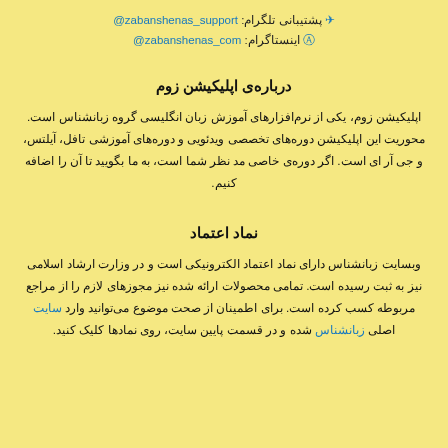پشتیبانی تلگرام: @zabanshenas_support
اینستاگرام: @zabanshenas_com
درباره‌ی اپلیکیشن زوم
اپلیکیشن زوم، یکی از نرم‌افزارهای آموزش زبان انگلیسی گروه زبانشناس است. محوریت این اپلیکیشن دوره‌های تخصصی ویدئویی و دوره‌های آموزشی تافل، آیلتس، و جی آر ای است. اگر دوره‌ی خاصی مد نظر شما است، به ما بگویید تا آن را اضافه کنیم.
نماد اعتماد
وبسایت زبانشناس دارای نماد اعتماد الکترونیکی است و در وزارت ارشاد اسلامی نیز به ثبت رسیده است. تمامی محصولات ارائه شده نیز مجوزهای لازم را از مراجع مربوطه کسب کرده است. برای اطمینان از صحت موضوع می‌توانید وارد سایت اصلی زبانشناس شده و در قسمت پایین سایت، روی نمادها کلیک کنید.